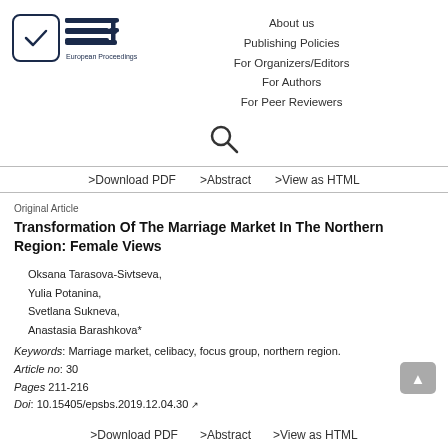[Figure (logo): European Proceedings logo: checkbox icon with checkmark and EP stylized text]
About us
Publishing Policies
For Organizers/Editors
For Authors
For Peer Reviewers
[Figure (other): Search icon (magnifying glass)]
>Download PDF   >Abstract   >View as HTML
Original Article
Transformation Of The Marriage Market In The Northern Region: Female Views
Oksana Tarasova-Sivtseva,
Yulia Potanina,
Svetlana Sukneva,
Anastasia Barashkova*
Keywords: Marriage market, celibacy, focus group, northern region.
Article no: 30
Pages 211-216
Doi: 10.15405/epsbs.2019.12.04.30
>Download PDF   >Abstract   >View as HTML